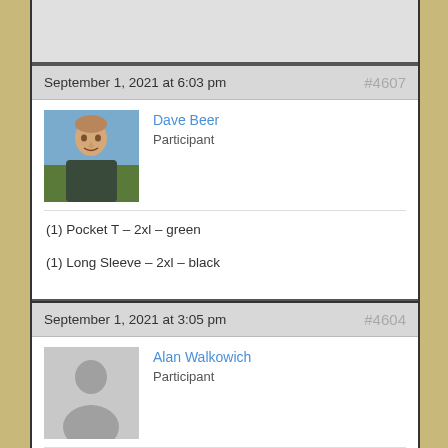September 1, 2021 at 6:03 pm   #4607
Dave Beer
Participant
[Figure (photo): Profile photo of Dave Beer, a man outdoors]
(1) Pocket T – 2xl – green
(1) Long Sleeve – 2xl – black
September 1, 2021 at 3:05 pm   #4604
Alan Walkowich
Participant
[Figure (photo): Generic placeholder avatar silhouette]
Rose-